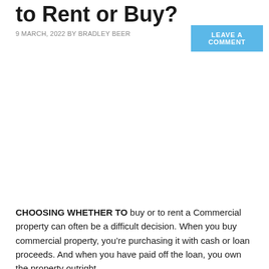to Rent or Buy?
9 MARCH, 2022 BY BRADLEY BEER
LEAVE A COMMENT
CHOOSING WHETHER TO buy or to rent a Commercial property can often be a difficult decision. When you buy commercial property, you’re purchasing it with cash or loan proceeds. And when you have paid off the loan, you own the property outright.